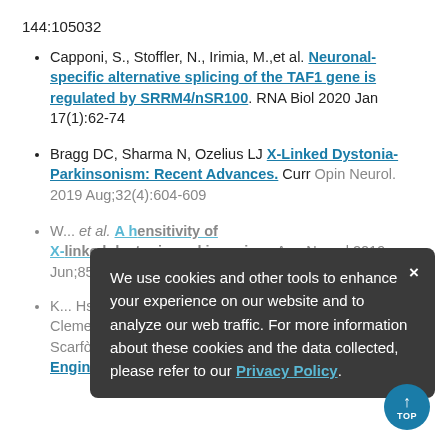144:105032
Capponi, S., Stoffler, N., Irimia, M.,et al. Neuronal-specific alternative splicing of the TAF1 gene is regulated by SRRM4/nSR100. RNA Biol 2020 Jan 17(1):62-74
Bragg DC, Sharma N, Ozelius LJ X-Linked Dystonia-Parkinsonism: Recent Advances. Curr Opin Neurol. 2019 Aug;32(4):604-609
W... et al. A h...ensitivity of X-linked dystonia-parkinsonism. Ann Neurol 2019 Jun;85(6):812-822
K... Hsu JY, Clement K, Welch MM, Horng JE, Malagon-Lopez J, Scarfò I, Maus MV, Pinello L, Aryee MJ, Joung JK Engineered CRISPR-Cas12a variants with
We use cookies and other tools to enhance your experience on our website and to analyze our web traffic. For more information about these cookies and the data collected, please refer to our Privacy Policy.